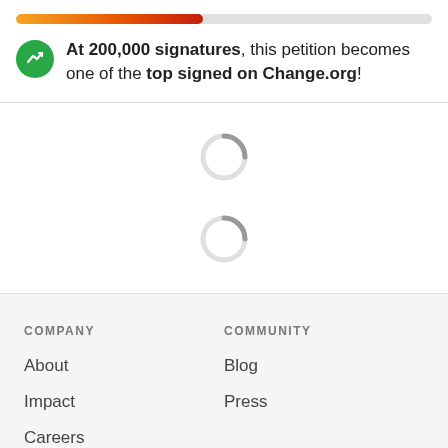[Figure (infographic): Progress bar showing petition signature progress, gradient from orange to red, approximately 45% filled]
At 200,000 signatures, this petition becomes one of the top signed on Change.org!
[Figure (other): Two loading spinner icons (circular grey arcs indicating content is loading)]
COMPANY
COMMUNITY
About
Blog
Impact
Press
Careers
Team